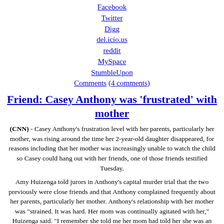Facebook
Twitter
Digg
del.icio.us
reddit
MySpace
StumbleUpon
Comments (4 comments)
Friend: Casey Anthony was 'frustrated' with mother
(CNN) - Casey Anthony's frustration level with her parents, particularly her mother, was rising around the time her 2-year-old daughter disappeared, for reasons including that her mother was increasingly unable to watch the child so Casey could hang out with her friends, one of those friends testified Tuesday.
Amy Huizenga told jurors in Anthony's capital murder trial that the two previously were close friends and that Anthony complained frequently about her parents, particularly her mother. Anthony's relationship with her mother was "strained. It was hard. Her mom was continually agitated with her," Huizenga said. "I remember she told me her mom had told her she was an unfit mother. She was